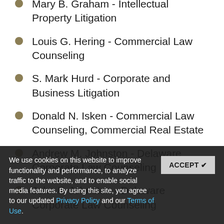Mary B. Graham - Intellectual Property Litigation
Louis G. Hering - Commercial Law Counseling
S. Mark Hurd - Corporate and Business Litigation
Donald N. Isken - Commercial Law Counseling, Commercial Real Estate
Andrew M. Johnston - Delaware Corporate Law Counseling
John F. Johnston - Delaware Corporate Law Counseling
Eric S. Klinger-Wilensky - Delaware Corporate Law Counseling
William M. Lafferty - Corporate and Business Litigation
We use cookies on this website to improve functionality and performance, to analyze traffic to the website, and to enable social media features. By using this site, you agree to our updated Privacy Policy and our Terms of Use.